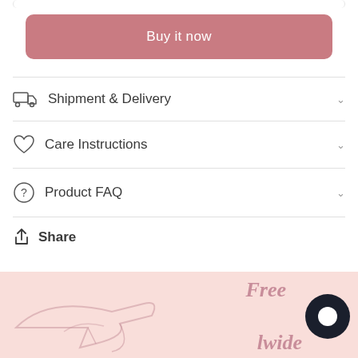Buy it now
Shipment & Delivery
Care Instructions
Product FAQ
Share
[Figure (illustration): Pink banner with airplane illustration and text 'Free Worldwide' in cursive, plus a dark circular chat button]